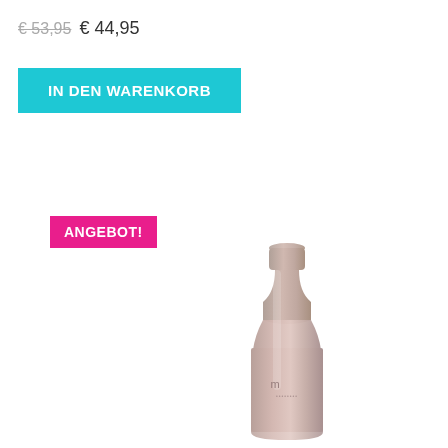€ 53,95 € 44,95
IN DEN WARENKORB
ANGEBOT!
[Figure (photo): A tall rose-gold/mauve colored hair care product bottle with a narrow neck and a small brand logo (letter M) in the center lower portion of the bottle.]